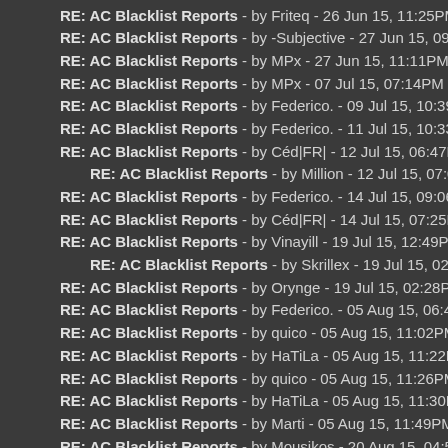RE: AC Blacklist Reports - by Friteq - 26 Jun 15, 11:25PM
RE: AC Blacklist Reports - by -Subjective - 27 Jun 15, 09:43AM
RE: AC Blacklist Reports - by MPx - 27 Jun 15, 11:11PM
RE: AC Blacklist Reports - by MPx - 07 Jul 15, 07:14PM
RE: AC Blacklist Reports - by Federico. - 09 Jul 15, 10:39PM
RE: AC Blacklist Reports - by Federico. - 11 Jul 15, 10:33PM
RE: AC Blacklist Reports - by Céd|FR| - 12 Jul 15, 06:47PM
RE: AC Blacklist Reports - by Million - 12 Jul 15, 07:03PM
RE: AC Blacklist Reports - by Federico. - 14 Jul 15, 09:06AM
RE: AC Blacklist Reports - by Céd|FR| - 14 Jul 15, 07:25PM
RE: AC Blacklist Reports - by Vinayill - 19 Jul 15, 12:49PM
RE: AC Blacklist Reports - by Skrillex - 19 Jul 15, 02:21PM
RE: AC Blacklist Reports - by Orynge - 19 Jul 15, 02:28PM
RE: AC Blacklist Reports - by Federico. - 05 Aug 15, 06:47PM
RE: AC Blacklist Reports - by quico - 05 Aug 15, 11:02PM
RE: AC Blacklist Reports - by HaTiLa - 05 Aug 15, 11:22PM
RE: AC Blacklist Reports - by quico - 05 Aug 15, 11:26PM
RE: AC Blacklist Reports - by HaTiLa - 05 Aug 15, 11:30PM
RE: AC Blacklist Reports - by Marti - 05 Aug 15, 11:49PM
RE: AC Blacklist Reports - by Mousikos - 20 Aug 15, 04:58AM
RE: AC Blacklist Reports - by quico - 04 Sep 15, 06:22PM
RE: AC Blacklist Reports - by Céd|FR| - 06 Sep 15, 01:33PM
RE: AC Blacklist Reports - by quico - 06 Sep 15, 07:43PM
RE: AC Blacklist Reports - by quico - 06 Sep 15, 10:53PM
RE: AC Blacklist Reports - by Céd|FR| - 07 Sep 15, 09:49PM